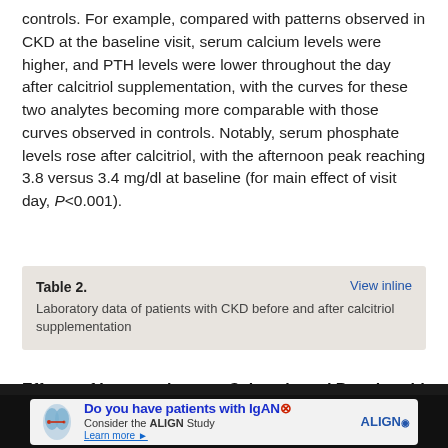controls. For example, compared with patterns observed in CKD at the baseline visit, serum calcium levels were higher, and PTH levels were lower throughout the day after calcitriol supplementation, with the curves for these two analytes becoming more comparable with those curves observed in controls. Notably, serum phosphate levels rose after calcitriol, with the afternoon peak reaching 3.8 versus 3.4 mg/dl at baseline (for main effect of visit day, P<0.001).
Table 2. Laboratory data of patients with CKD before and after calcitriol supplementation
Effects of Interventions on Calcemic and Parathyroid Postprandial Responses
We use cookies on this site to enhance your user experience. By clicking any link on this page you are giving your consent for us to set cookies.
[Figure (other): Advertisement banner: Do you have patients with IgAN? Consider the ALIGN Study. Learn more. ALIGN logo.]